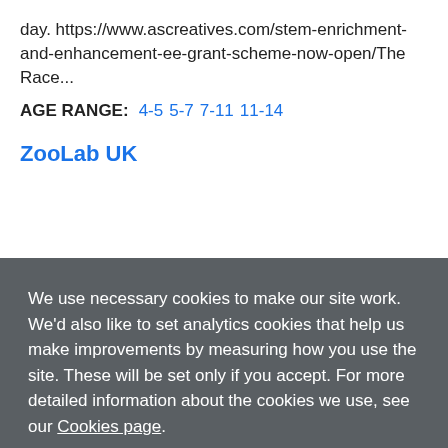day. https://www.ascreatives.com/stem-enrichment-and-enhancement-ee-grant-scheme-now-open/The Race...
AGE RANGE: 4-5  5-7  7-11  11-14
ZooLab UK
We use necessary cookies to make our site work. We'd also like to set analytics cookies that help us make improvements by measuring how you use the site. These will be set only if you accept. For more detailed information about the cookies we use, see our Cookies page.